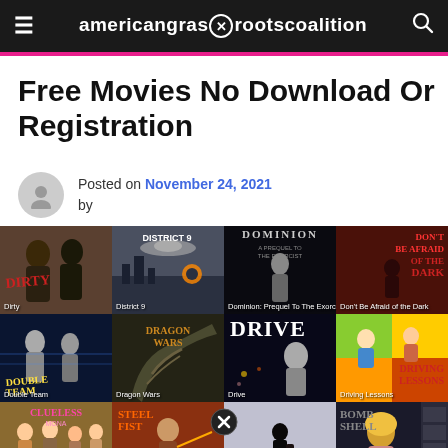americangrassrootscoalition
Free Movies No Download Or Registration
Posted on November 24, 2021 by
[Figure (screenshot): Grid of movie poster thumbnails: Row 1: Dirty, District 9, Dominion: Prequel to the Exorcist, Don't Be Afraid of the Dark. Row 2: Double Team, Dragon Wars, Drive, Driving Lessons. Row 3: (partially visible) Clueless, Dublin Frisco, El Mariachi, Blonde.]